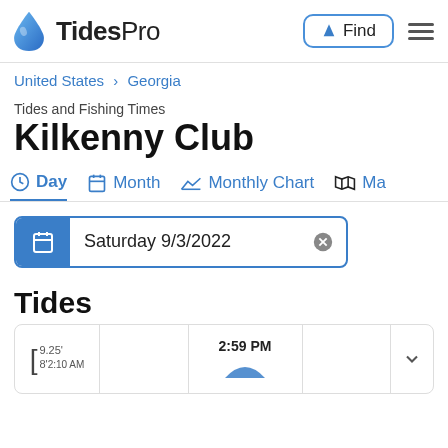TidesPro | Find
United States > Georgia
Tides and Fishing Times
Kilkenny Club
Day  Month  Monthly Chart  Ma…
Saturday 9/3/2022
Tides
9.25'
8' 2:59 PM